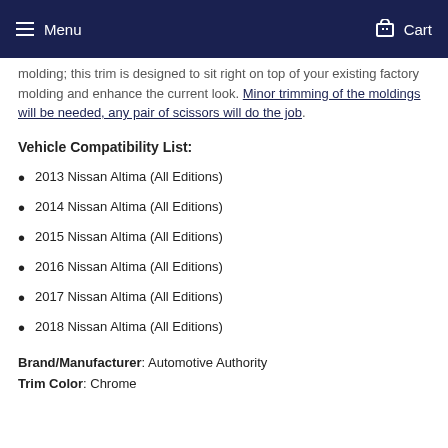Menu  Cart
molding; this trim is designed to sit right on top of your existing factory molding and enhance the current look. Minor trimming of the moldings will be needed, any pair of scissors will do the job.
Vehicle Compatibility List:
2013 Nissan Altima (All Editions)
2014 Nissan Altima (All Editions)
2015 Nissan Altima (All Editions)
2016 Nissan Altima (All Editions)
2017 Nissan Altima (All Editions)
2018 Nissan Altima (All Editions)
Brand/Manufacturer: Automotive Authority
Trim Color: Chrome